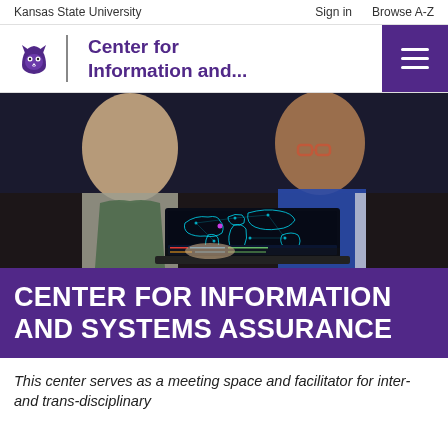Kansas State University | Sign in  Browse A-Z
Center for Information and...
[Figure (photo): Two students viewed from behind, looking at a laptop screen displaying a world map with network/cyber data visualizations in teal and blue on a dark background.]
CENTER FOR INFORMATION AND SYSTEMS ASSURANCE
This center serves as a meeting space and facilitator for inter- and trans-disciplinary